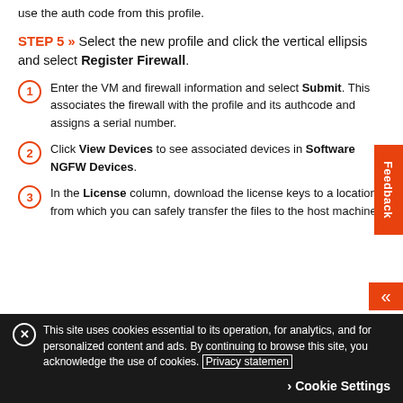use the auth code from this profile.
STEP 5 » Select the new profile and click the vertical ellipsis and select Register Firewall.
Enter the VM and firewall information and select Submit. This associates the firewall with the profile and its authcode and assigns a serial number.
Click View Devices to see associated devices in Software NGFW Devices.
In the License column, download the license keys to a location from which you can safely transfer the files to the host machine.
This site uses cookies essential to its operation, for analytics, and for personalized content and ads. By continuing to browse this site, you acknowledge the use of cookies. Privacy statement
Cookie Settings